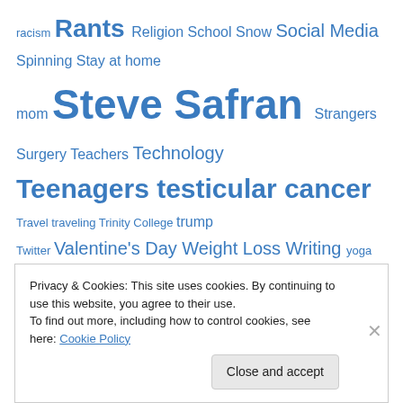racism Rants Religion School Snow Social Media Spinning Stay at home mom Steve Safran Strangers Surgery Teachers Technology Teenagers testicular cancer Travel traveling Trinity College trump Twitter Valentine's Day Weight Loss Writing yoga
Archives
April 2022
June 2021
April 2021
Privacy & Cookies: This site uses cookies. By continuing to use this website, you agree to their use. To find out more, including how to control cookies, see here: Cookie Policy